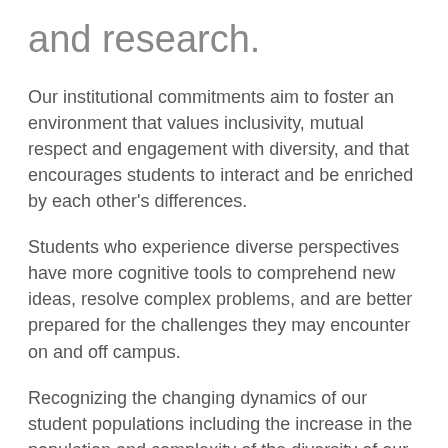and research.
Our institutional commitments aim to foster an environment that values inclusivity, mutual respect and engagement with diversity, and that encourages students to interact and be enriched by each other's differences.
Students who experience diverse perspectives have more cognitive tools to comprehend new ideas, resolve complex problems, and are better prepared for the challenges they may encounter on and off campus.
Recognizing the changing dynamics of our student populations including the increase in the population and complexity of the diversity of our domestic and international students on our campuses, the Board